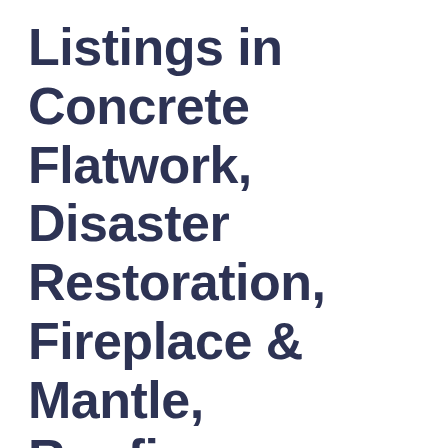Listings in Concrete Flatwork, Disaster Restoration, Fireplace & Mantle, Roofing, Bathroom Remodeling, MOTOR VEHICLES, Electrician, Fence & Gate Staining and